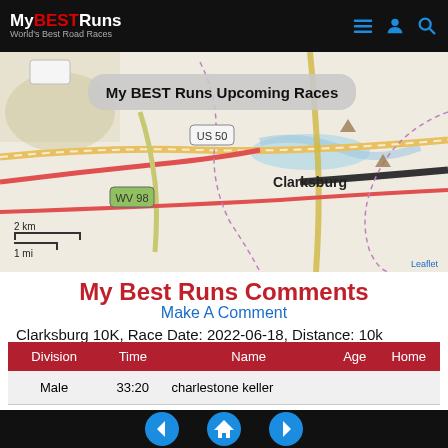My BEST Runs — World's Best Road Races
[Figure (map): Street map centered on Clarksburg area showing US 50, WV 98 roads. Scale bar shows 2 km / 1 mi. Leaflet attribution bottom right. Overlay label: My BEST Runs Upcoming Races]
My Best Runs Comments
Make A Comment
Clarksburg 10K, Race Date: 2022-06-18, Distance: 10k
| Division | Time | Name | Age | Home |
| --- | --- | --- | --- | --- |
| Male | 33:20 | charlestone keller |  |  |
| 2nd Male | 33:32 | william woody |  |  |
| 3rd Male | 33:38 | david angell |  |  |
Navigation: back | home | forward